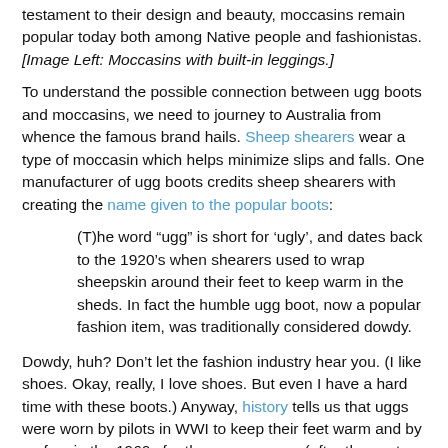testament to their design and beauty, moccasins remain popular today both among Native people and fashionistas. [Image Left: Moccasins with built-in leggings.]
To understand the possible connection between ugg boots and moccasins, we need to journey to Australia from whence the famous brand hails. Sheep shearers wear a type of moccasin which helps minimize slips and falls. One manufacturer of ugg boots credits sheep shearers with creating the name given to the popular boots:
(T)he word “ugg” is short for ‘ugly’, and dates back to the 1920’s when shearers used to wrap sheepskin around their feet to keep warm in the sheds. In fact the humble ugg boot, now a popular fashion item, was traditionally considered dowdy.
Dowdy, huh? Don’t let the fashion industry hear you. (I like shoes. Okay, really, I love shoes. But even I have a hard time with these boots.) Anyway, history tells us that uggs were worn by pilots in WWI to keep their feet warm and by surfers in the 1960s for the same reason (after they got out of the